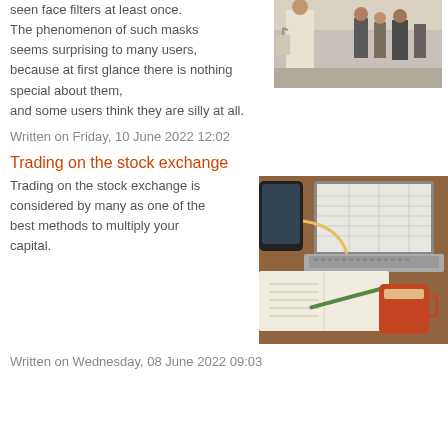seen face filters at least once. The phenomenon of such masks seems surprising to many users, because at first glance there is nothing special about them, and some users think they are silly at all.
[Figure (photo): People walking on a street, one person carrying shopping bags]
Written on Friday, 10 June 2022 12:02
Trading on the stock exchange
Trading on the stock exchange is considered by many as one of the best methods to multiply your capital.
[Figure (photo): Laptop, notebook, coffee cup and phone on a wooden desk]
Written on Wednesday, 08 June 2022 09:03